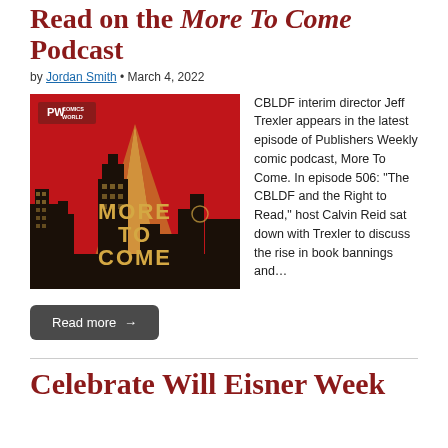Read on the More To Come Podcast
by Jordan Smith • March 4, 2022
[Figure (illustration): Podcast cover art for 'More To Come' on PW Comics World — red background with stylized city skyline silhouette and gold rays, text 'MORE TO COME' in large gold letters, PW Comics World logo in top left corner.]
CBLDF interim director Jeff Trexler appears in the latest episode of Publishers Weekly comic podcast, More To Come. In episode 506: “The CBLDF and the Right to Read,” host Calvin Reid sat down with Trexler to discuss the rise in book bannings and…
Read more →
Celebrate Will Eisner Week